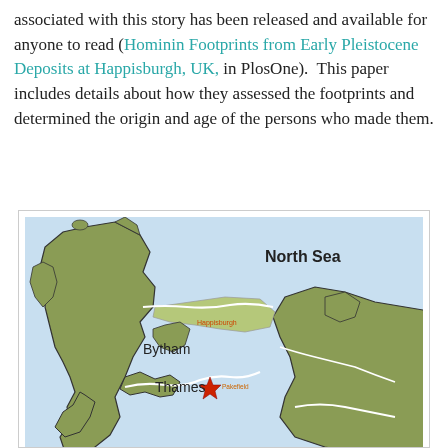associated with this story has been released and available for anyone to read (Hominin Footprints from Early Pleistocene Deposits at Happisburgh, UK, in PlosOne).  This paper includes details about how they assessed the footprints and determined the origin and age of the persons who made them.
[Figure (map): Map showing ancient river courses and geography of Britain and the North Sea region, with labels for North Sea, Bytham, and Thames rivers. A red star marks a location near the Thames label. 'Happisburgh' is labeled near the east coast of Britain.]